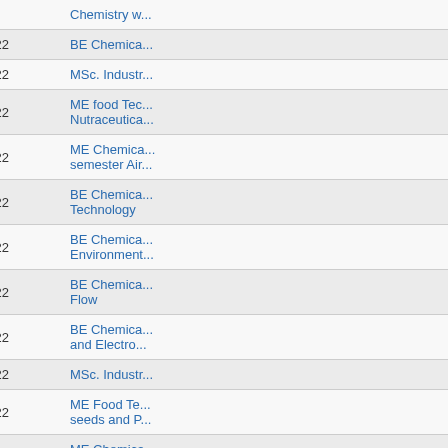| No. | Date | Programme |
| --- | --- | --- |
| 89. | 19/01/2022 | BE Chemical... |
| 90. | 19/01/2022 | MSc. Industr... |
| 91. | 19/01/2022 | ME food Tec... Nutraceutica... |
| 92. | 19/01/2022 | ME Chemica... semester Air... |
| 93. | 19/01/2022 | BE Chemica... Technology |
| 94. | 19/01/2022 | BE Chemica... Environment... |
| 95. | 19/01/2022 | BE Chemica... Flow |
| 96. | 19/01/2022 | BE Chemica... and Electro... |
| 97. | 19/01/2022 | MSc. Industr... |
| 98. | 19/01/2022 | ME Food Te... seeds and P... |
| 99. | 19/01/2022 | ME Chemica... semester Ma... |
| 100. | 19/01/2022 | BE Chemica... |